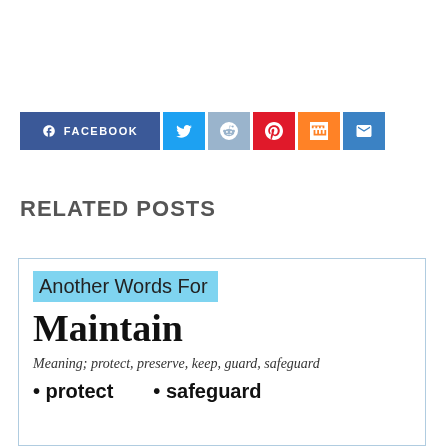[Figure (infographic): Social sharing buttons row: Facebook (dark blue, wide), Twitter (light blue), Reddit (steel blue), Pinterest (red), Mix (orange), Email (blue)]
RELATED POSTS
[Figure (infographic): Card with light blue highlighted label 'Another Words For', large bold serif title 'Maintain', italic meaning text 'Meaning; protect, preserve, keep, guard, safeguard', and partial words 'protect' and 'safeguard' at bottom.]